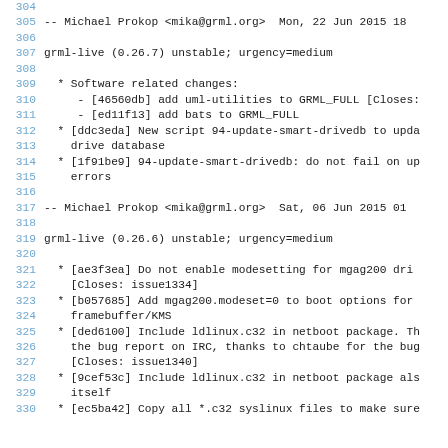304  (blank)
305  -- Michael Prokop <mika@grml.org>  Mon, 22 Jun 2015 18
306  (blank)
307  grml-live (0.26.7) unstable; urgency=medium
308  (blank)
309    * Software related changes:
310      - [46560db] add uml-utilities to GRML_FULL [Closes:
311      - [ed11f13] add bats to GRML_FULL
312    * [ddc3eda] New script 94-update-smart-drivedb to upda
313      drive database
314    * [1f91be9] 94-update-smart-drivedb: do not fail on up
315      errors
316  (blank)
317  -- Michael Prokop <mika@grml.org>  Sat, 06 Jun 2015 01
318  (blank)
319  grml-live (0.26.6) unstable; urgency=medium
320  (blank)
321    * [ae3f3ea] Do not enable modesetting for mgag200 dri
322      [Closes: issue1334]
323    * [b057685] Add mgag200.modeset=0 to boot options for
324      framebuffer/KMS
325    * [ded6100] Include ldlinux.c32 in netboot package. Th
326      the bug report on IRC, thanks to chtaube for the bug
327      [Closes: issue1340]
328    * [9cef53c] Include ldlinux.c32 in netboot package als
329      itself
330    * [ec5ba42] Copy all *.c32 syslinux files to make sure